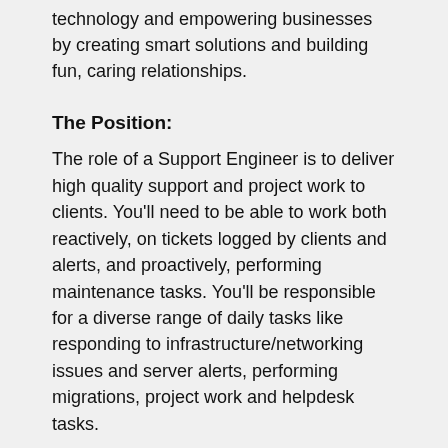technology and empowering businesses by creating smart solutions and building fun, caring relationships.
The Position:
The role of a Support Engineer is to deliver high quality support and project work to clients. You’ll need to be able to work both reactively, on tickets logged by clients and alerts, and proactively, performing maintenance tasks. You’ll be responsible for a diverse range of daily tasks like responding to infrastructure/networking issues and server alerts, performing migrations, project work and helpdesk tasks.
Permanent full-time position with a base salary up to $85,000 depending on